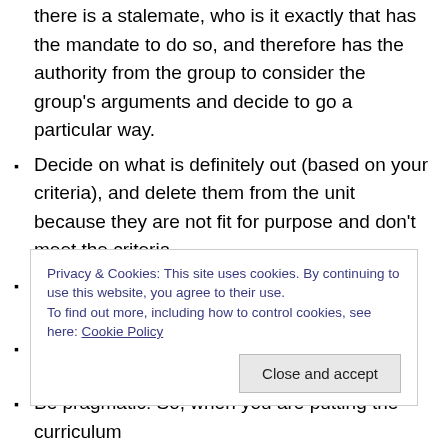comes to a time for a group to make a decision, and there is a stalemate, who is it exactly that has the mandate to do so, and therefore has the authority from the group to consider the group's arguments and decide to go a particular way.
Decide on what is definitely out (based on your criteria), and delete them from the unit because they are not fit for purpose and don't meet the criteria.
Determine any links between subject areas and change timings
Determine what needs to be added (confer to the
Privacy & Cookies: This site uses cookies. By continuing to use this website, you agree to their use.
To find out more, including how to control cookies, see here: Cookie Policy
Be pragmatic: So, when you are putting the curriculum